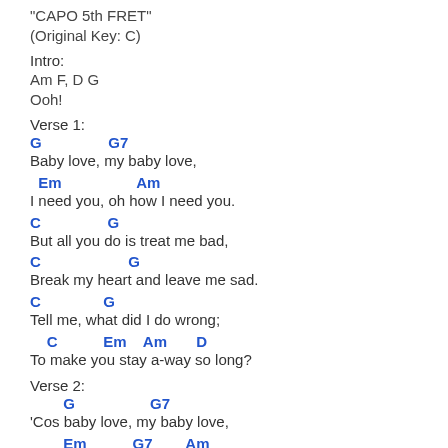"CAPO 5th FRET"
(Original Key: C)
Intro:
Am F, D G
Ooh!
Verse 1:
G                G7
Baby love, my baby love,
Em                  Am
I need you, oh how I need you.
C                G
But all you do is treat me bad,
C                     G
Break my heart and leave me sad.
C               G
Tell me, what did I do wrong;
C           Em    Am       D
To make you stay a-way so long?
Verse 2:
G                  G7
'Cos baby love, my baby love,
Em           G7        Am
Been missing ya, ooh, miss kissing ya.